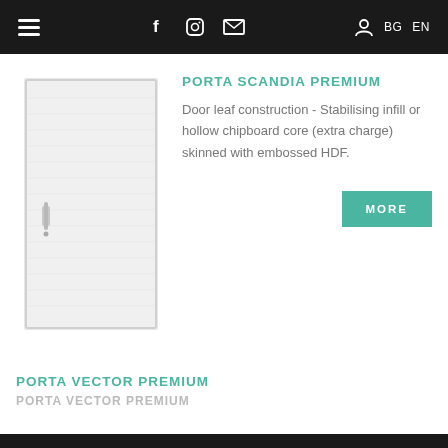Navigation bar with hamburger menu, social icons (Facebook, Instagram, Email), user icon, BG, EN language selectors
[Figure (photo): White interior door (Porta Scandia Premium) with horizontal grain texture and silver handle, standing upright on white background]
PORTA SCANDIA PREMIUM
Door leaf construction - Stabilising infill or hollow chipboard core (extra charge) skinned with embossed HDF.
PORTA VECTOR PREMIUM
PORTA VECTOR PREMIUM